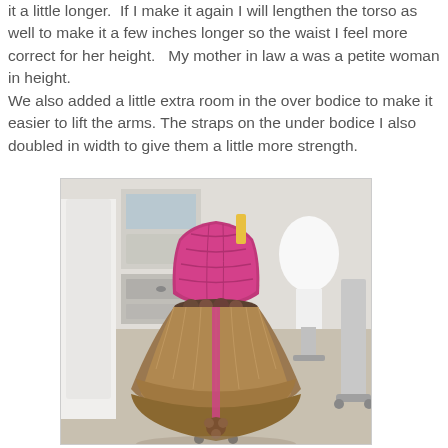it a little longer.  If I make it again I will lengthen the torso as well to make it a few inches longer so the waist I feel more correct for her height.   My mother in law a was a petite woman in height.
We also added a little extra room in the over bodice to make it easier to lift the arms. The straps on the under bodice I also doubled in width to give them a little more strength.
[Figure (photo): A dress on a mannequin/dress form in what appears to be a sewing or costume studio. The dress has a bright pink/magenta strapless bodice with a textured/quilted appearance, and a full brown/bronze layered skirt with floral embellishments at the waist and hem. A pink ribbon runs down the front of the skirt. In the background are sewing room equipment including another dress form and shelving.]